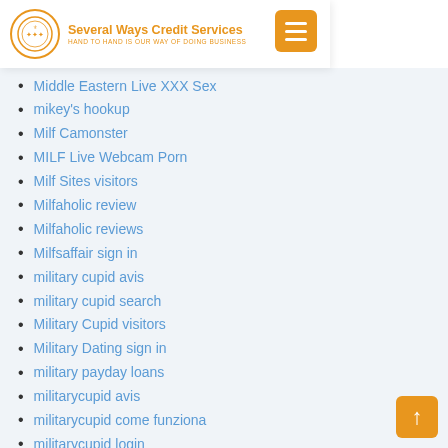Several Ways Credit Services — HAND TO HAND IS OUR WAY OF DOING BUSINESS
Middle Eastern Live XXX Sex
mikey's hookup
Milf Camonster
MILF Live Webcam Porn
Milf Sites visitors
Milfaholic review
Milfaholic reviews
Milfsaffair sign in
military cupid avis
military cupid search
Military Cupid visitors
Military Dating sign in
military payday loans
militarycupid avis
militarycupid come funziona
militarycupid login
militarycupid mobile
militarycupid review
millionairematch best hookup apps